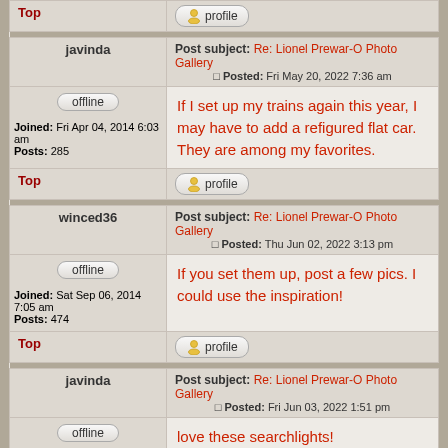Top
profile
javinda
Post subject: Re: Lionel Prewar-O Photo Gallery
Posted: Fri May 20, 2022 7:36 am
offline
Joined: Fri Apr 04, 2014 6:03 am
Posts: 285
If I set up my trains again this year, I may have to add a refigured flat car. They are among my favorites.
Top
profile
winced36
Post subject: Re: Lionel Prewar-O Photo Gallery
Posted: Thu Jun 02, 2022 3:13 pm
offline
Joined: Sat Sep 06, 2014 7:05 am
Posts: 474
If you set them up, post a few pics. I could use the inspiration!
Top
profile
javinda
Post subject: Re: Lionel Prewar-O Photo Gallery
Posted: Fri Jun 03, 2022 1:51 pm
offline
love these searchlights!